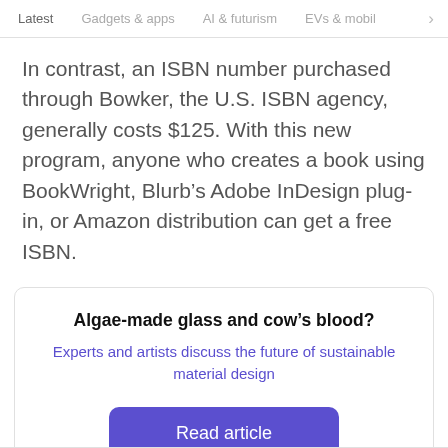Latest   Gadgets & apps   AI & futurism   EVs & mobil
In contrast, an ISBN number purchased through Bowker, the U.S. ISBN agency, generally costs $125. With this new program, anyone who creates a book using BookWright, Blurb’s Adobe InDesign plug-in, or Amazon distribution can get a free ISBN.
Algae-made glass and cow’s blood?
Experts and artists discuss the future of sustainable material design
Read article